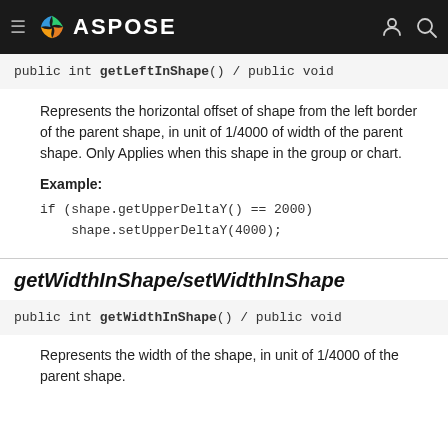ASPOSE
public int getLeftInShape() / public void
Represents the horizontal offset of shape from the left border of the parent shape, in unit of 1/4000 of width of the parent shape. Only Applies when this shape in the group or chart.
Example:
if (shape.getUpperDeltaY() == 2000)
    shape.setUpperDeltaY(4000);
getWidthInShape/setWidthInShape
public int getWidthInShape() / public void
Represents the width of the shape, in unit of 1/4000 of the parent shape.